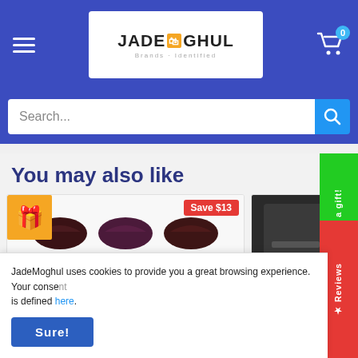[Figure (logo): JadeMoghul logo with hamburger menu and cart icon on blue header bar]
Search...
You may also like
[Figure (photo): Lipstick product image showing dark lip colors with text 'wow!! amazing colors!!' and lipstick swatches. Save $13 badge and gift icon overlay.]
[Figure (photo): Second product card partially visible showing dark product image.]
JadeMoghul uses cookies to provide you a great browsing experience. Your consent is defined here.
Sure!
Give your friends a gift!
★ Reviews